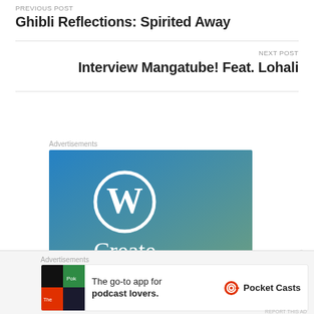PREVIOUS POST
Ghibli Reflections: Spirited Away
NEXT POST
Interview Mangatube! Feat. Lohali
Advertisements
[Figure (screenshot): WordPress advertisement banner with blue-to-teal gradient background, WordPress logo (W in circle), and the word 'Create']
Advertisements
[Figure (screenshot): Pocket Casts advertisement: The go-to app for podcast lovers. Pocket Casts logo shown.]